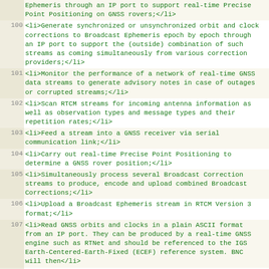Ephemeris through an IP port to support real-time Precise Point Positioning on GNSS rovers;</li>
<li>Generate synchronized or unsynchronized orbit and clock corrections to Broadcast Ephemeris epoch by epoch through an IP port to support the (outside) combination of such streams as coming simultaneously from various correction providers;</li>
<li>Monitor the performance of a network of real-time GNSS data streams to generate advisory notes in case of outages or corrupted streams;</li>
<li>Scan RTCM streams for incoming antenna information as well as observation types and message types and their repetition rates;</li>
<li>Feed a stream into a GNSS receiver via serial communication link;</li>
<li>Carry out real-time Precise Point Positioning to determine a GNSS rover position;</li>
<li>Simultaneously process several Broadcast Correction streams to produce, encode and upload combined Broadcast Corrections;</li>
<li>Upload a Broadcast Ephemeris stream in RTCM Version 3 format;</li>
<li>Read GNSS orbits and clocks in a plain ASCII format from an IP port. They can be produced by a real-time GNSS engine such as RTNet and should be referenced to the IGS Earth-Centered-Earth-Fixed (ECEF) reference system. BNC will then</li>
<ul>
<li>Convert the IGS Earth-Centered-Earth-Fixed orbits and clocks into Broadcast Corrections with radial, along-track and cross-track components;</li>
<li>Upload Broadcast Corrections as an RTCM Version 3 stream to an NTRIP Broadcaster;</li>